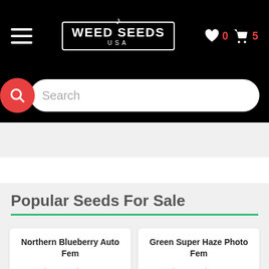WEED SEEDS USA | Hamburger menu | Heart: 0 | Cart: 5
Search
Popular Seeds For Sale
Northern Blueberry Auto Fem
$10.00  $6.39
Green Super Haze Photo Fem
$10.00  $6.39